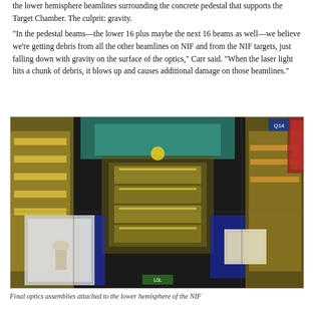the lower hemisphere beamlines surrounding the concrete pedestal that supports the Target Chamber. The culprit: gravity.
“In the pedestal beams—the lower 16 plus maybe the next 16 beams as well—we believe we’re getting debris from all the other beamlines on NIF and from the NIF targets, just falling down with gravity on the surface of the optics,” Carr said. “When the laser light hits a chunk of debris, it blows up and causes additional damage on those beamlines.”
[Figure (photo): Interior view of the NIF Target Chamber lower hemisphere showing final optics assemblies, laser equipment, technicians, and complex mechanical structures with blue, gold, and teal coloring.]
Final optics assemblies attached to the lower hemisphere of the NIF